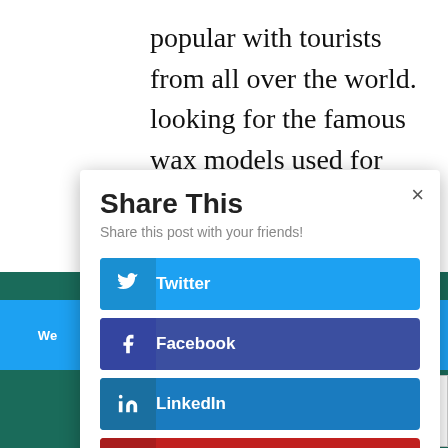popular with tourists from all over the world. looking for the famous wax models used for displays of restaurants. You
Share This
Share this post with your friends!
Twitter
Facebook
LinkedIn
Pinterest